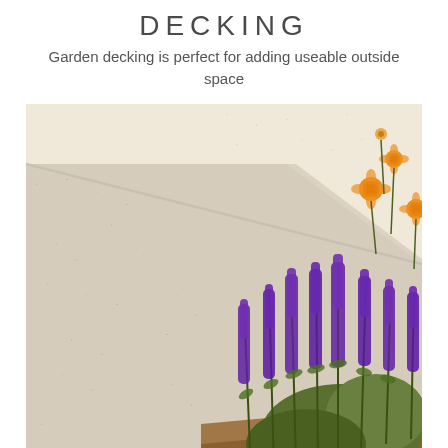DECKING
Garden decking is perfect for adding useable outside space
[Figure (photo): Photograph of garden decking (light sandy/cream colored stone surface) with purple salvia flowers and small orange wildflowers growing beside the paved area, photographed from above at an angle.]